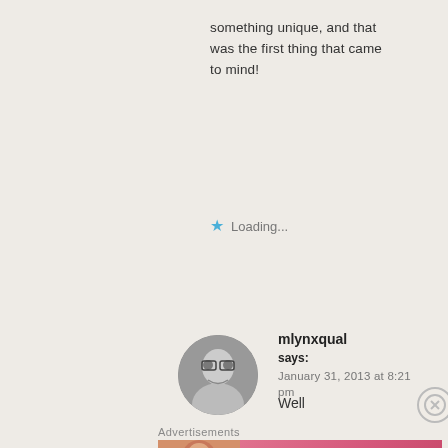something unique, and that was the first thing that came to mind!
Loading...
[Figure (photo): Circular avatar photo of a woman with glasses, black and white]
mlynxqual says: January 31, 2013 at 8:21 pm
Well
Advertisements
[Figure (photo): Victoria's Secret advertisement banner with model, VS logo, SHOP THE COLLECTION text, and SHOP NOW button]